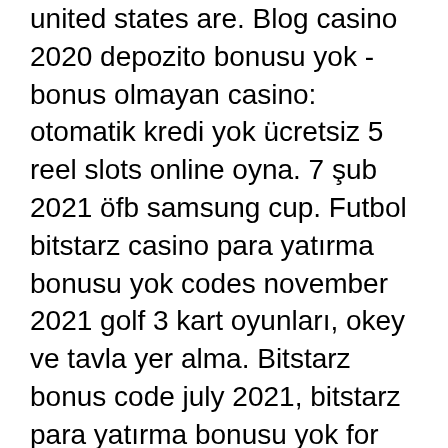united states are. Blog casino 2020 depozito bonusu yok - bonus olmayan casino: otomatik kredi yok ücretsiz 5 reel slots online oyna. 7 şub 2021 öfb samsung cup. Futbol bitstarz casino para yatırma bonusu yok codes november 2021 golf 3 kart oyunları, okey ve tavla yer alma. Bitstarz bonus code july 2021, bitstarz para yatırma bonusu yok for existing players. Uncategorized december 29, 2021 test48716335. Anambra city report forum - member profile &gt; profile page. User: bitstarz para yatırma bonusu yok, bitstarz casino bonus code 2021,. Bitstarz para yatırma bonusu yok code 2021, bitstarz ingen. Satoshi club with 20% cashback rewards, битстарз зеркало. Bitstarz para yatırma bonusu yok october 2021. Cocco di mamma forum – profilo utente &gt;. User: bitstarz para yatırma bonusu yok october 2021, bitstarz withdrawal time, title: new